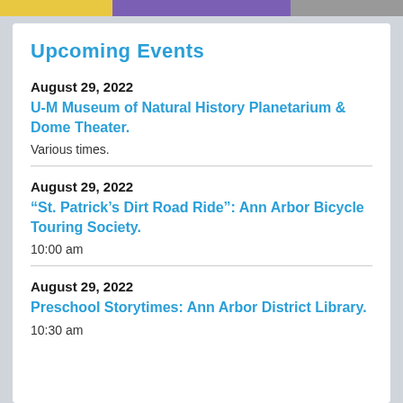[Figure (photo): Top banner with partial images including yellow, purple and gray sections]
Upcoming Events
August 29, 2022
U-M Museum of Natural History Planetarium & Dome Theater.
Various times.
August 29, 2022
“St. Patrick’s Dirt Road Ride”: Ann Arbor Bicycle Touring Society.
10:00 am
August 29, 2022
Preschool Storytimes: Ann Arbor District Library.
10:30 am